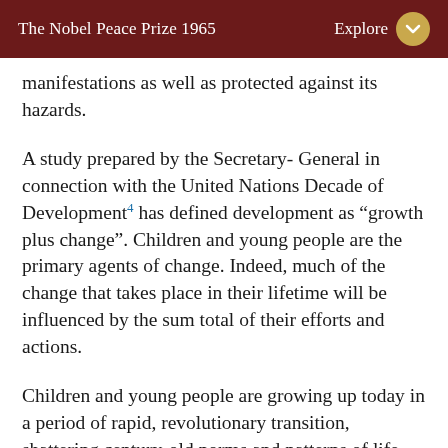The Nobel Peace Prize 1965 | Explore
manifestations as well as protected against its hazards.
A study prepared by the Secretary- General in connection with the United Nations Decade of Development⁴ has defined development as “growth plus change”. Children and young people are the primary agents of change. Indeed, much of the change that takes place in their lifetime will be influenced by the sum total of their efforts and actions.
Children and young people are growing up today in a period of rapid, revolutionary transition, shattering century-old norms and patterns of life. New political realities, new freedom, the responsibilities, limitations, and opportunities